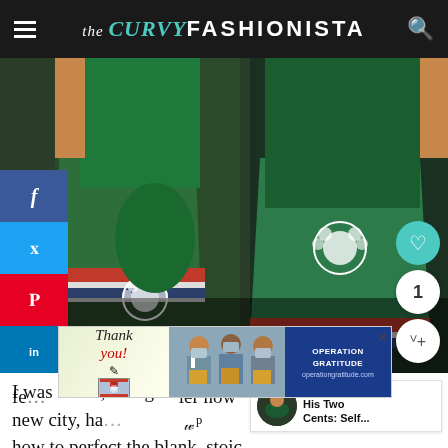the CURVY FASHIONISTA
[Figure (photo): Two people wearing green and red cheerleader uniforms with paw print logo, photo taken from chest/waist down]
I was 13/14, in high school in a new city, ha... how to perfect the blank, stoic face, how to mask fe... ier how w...
[Figure (advertisement): Operation Gratitude advertisement with thank you note and medical workers images]
WHAT'S NEXT → His Two Cents: Self...